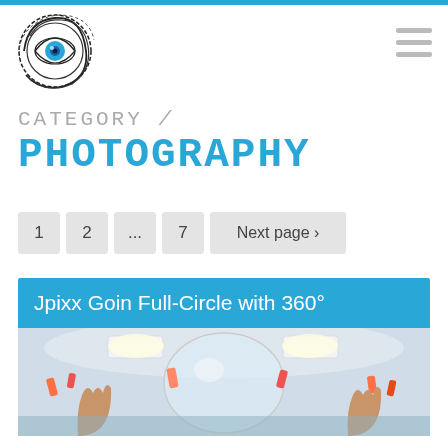[Figure (logo): Eye with swirling lines logo for Jpixx photography website]
CATEGORY /
PHOTOGRAPHY
1  2  ...  7  Next page >
[Figure (photo): Article card with blue header 'Jpixx Goin Full-Circle with 360°' and a 360-degree photo of an indoor event with people raising hands]